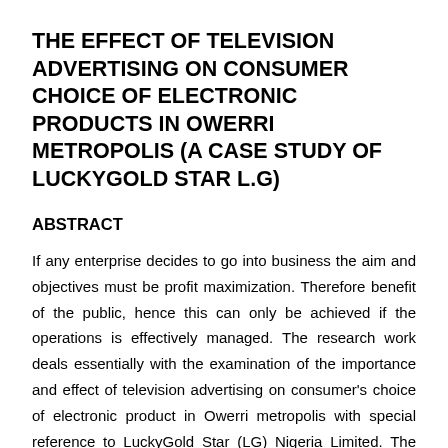THE EFFECT OF TELEVISION ADVERTISING ON CONSUMER CHOICE OF ELECTRONIC PRODUCTS IN OWERRI METROPOLIS (A CASE STUDY OF LUCKYGOLD STAR L.G)
ABSTRACT
If any enterprise decides to go into business the aim and objectives must be profit maximization. Therefore benefit of the public, hence this can only be achieved if the operations is effectively managed. The research work deals essentially with the examination of the importance and effect of television advertising on consumer's choice of electronic product in Owerri metropolis with special reference to LuckyGold Star (LG) Nigeria Limited. The nature of this